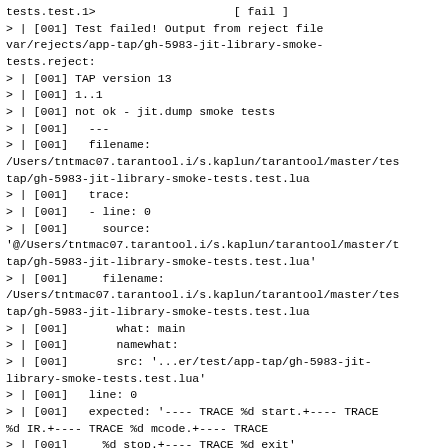tests.test.1>                    [ fail ]
> | [001] Test failed! Output from reject file
var/rejects/app-tap/gh-5983-jit-library-smoke-
tests.reject:
> | [001] TAP version 13
> | [001] 1..1
> | [001] not ok - jit.dump smoke tests
> | [001]   ---
> | [001]   filename:
/Users/tntmac07.tarantool.i/s.kaplun/tarantool/master/tes
tap/gh-5983-jit-library-smoke-tests.test.lua
> | [001]   trace:
> | [001]   - line: 0
> | [001]     source:
'@/Users/tntmac07.tarantool.i/s.kaplun/tarantool/master/t
tap/gh-5983-jit-library-smoke-tests.test.lua'
> | [001]     filename:
/Users/tntmac07.tarantool.i/s.kaplun/tarantool/master/tes
tap/gh-5983-jit-library-smoke-tests.test.lua
> | [001]       what: main
> | [001]       namewhat:
> | [001]       src: '...er/test/app-tap/gh-5983-jit-
library-smoke-tests.test.lua'
> | [001]   line: 0
> | [001]   expected: '---- TRACE %d start.+---- TRACE
%d IR.+---- TRACE %d mcode.+---- TRACE
> | [001]     %d stop.+---- TRACE %d exit'
> | [001]   got:
> | [001]   ...
> | [001] # failed subtest: 1